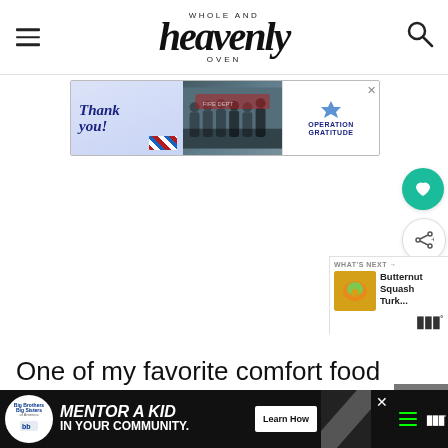WHOLE AND heavenly OVEN
[Figure (screenshot): Operation Gratitude advertisement banner with 'Thank you!' text and image of firefighters]
[Figure (infographic): Heart (save) and share button icons on right sidebar]
[Figure (screenshot): What's Next widget showing Butternut Squash Turk... thumbnail]
One of my favorite comfort food is no doubt chili for three reasons: first, I am totally in love with spicy foods. Almost everything that I cook I season with
[Figure (screenshot): Big Brothers Big Sisters advertisement: MENTOR A KID IN YOUR COMMUNITY. Learn How button. Bottom banner on dark background.]